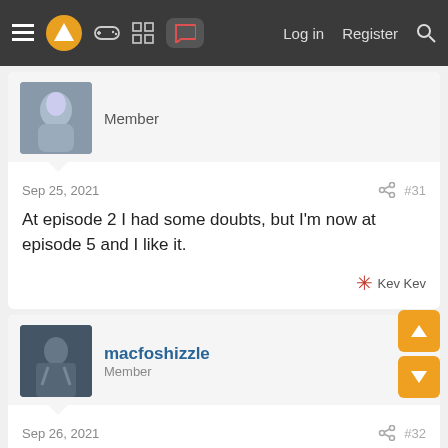≡  [logo]  [gamepad]  [grid]  [chat]   Log in   Register  [search]
Member
Sep 25, 2021  #31
At episode 2 I had some doubts, but I'm now at episode 5 and I like it.
Kev Kev
macfoshizzle
Member
Sep 26, 2021  #32
just finished it last night.. fucking intense movie!! there are so many things going on here with the perception of our daily lives. almost like parasite level, especially the end which makes you really think. At